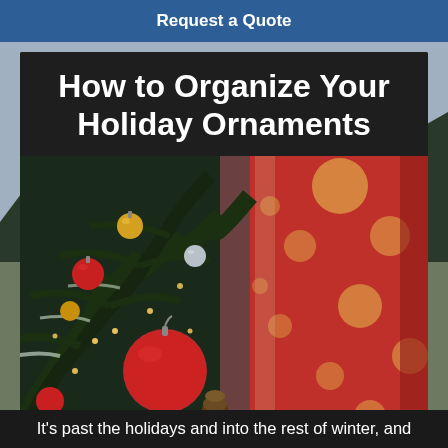Request a Quote
How to Organize Your Holiday Ornaments
[Figure (photo): Close-up photograph of a decorated Christmas tree with red and gold ornaments, bokeh lights, and a blurred red gift box background]
It's past the holidays and into the rest of winter, and